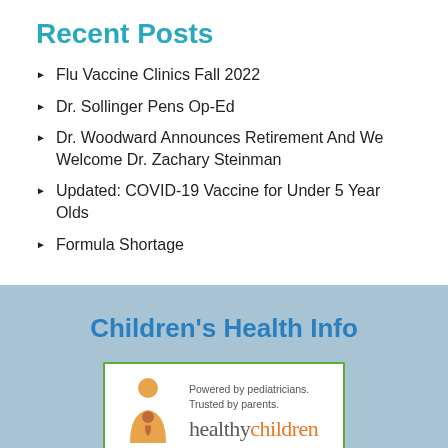Recent Posts
Flu Vaccine Clinics Fall 2022
Dr. Sollinger Pens Op-Ed
Dr. Woodward Announces Retirement And We Welcome Dr. Zachary Steinman
Updated: COVID-19 Vaccine for Under 5 Year Olds
Formula Shortage
Children's Health Info
[Figure (logo): HealthyChildren.org logo — orange caregiver/child icon, text 'Powered by pediatricians. Trusted by parents.' and 'healthy children' in gray and orange serif font, inside a green-bordered white box]